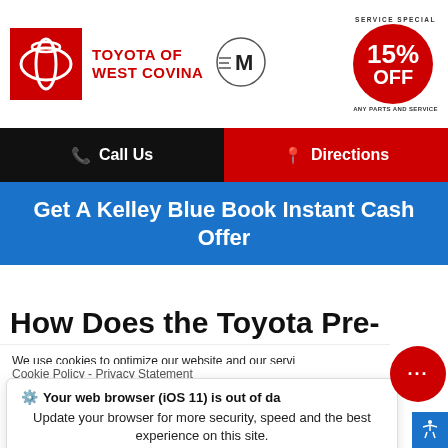[Figure (logo): Toyota of West Covina dealership header with Toyota logo (red box with Toyota emblem), dealer name in red text, stylized M logo in circle, and Service Special 15% OFF badge]
Call Us
Directions
Get A Kelley Blue Book Instant Cash Offer
How Does the Toyota Pre-
We use cookies to optimize our website and our serv...
Cookie Policy -  Privacy Statement
Your web browser (iOS 11) is out of dat...
Update your browser for more security, speed and the best experience on this site.
Update browser
Ignore